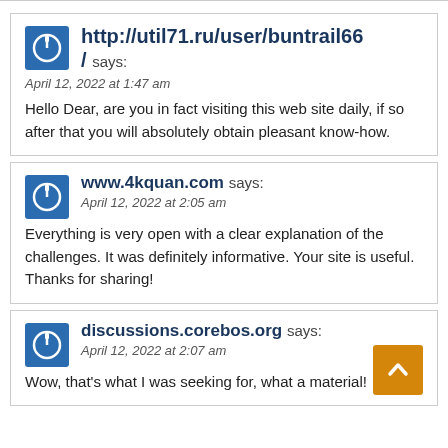http://util71.ru/user/buntrail66 / says:
April 12, 2022 at 1:47 am
Hello Dear, are you in fact visiting this web site daily, if so after that you will absolutely obtain pleasant know-how.
www.4kquan.com says:
April 12, 2022 at 2:05 am
Everything is very open with a clear explanation of the challenges. It was definitely informative. Your site is useful. Thanks for sharing!
discussions.corebos.org says:
April 12, 2022 at 2:07 am
Wow, that's what I was seeking for, what a material!